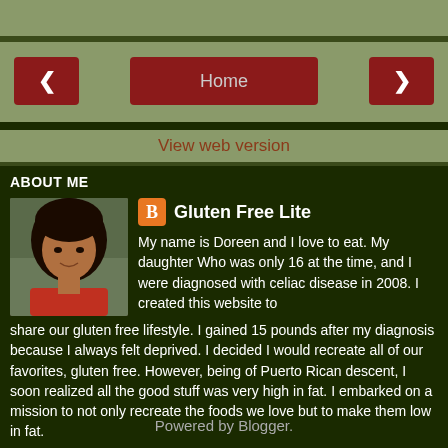Home | View web version
ABOUT ME
[Figure (photo): Profile photo of Doreen, a woman with long dark hair wearing a red top]
Gluten Free Lite
My name is Doreen and I love to eat. My daughter Who was only 16 at the time, and I were diagnosed with celiac disease in 2008. I created this website to share our gluten free lifestyle. I gained 15 pounds after my diagnosis because I always felt deprived. I decided I would recreate all of our favorites, gluten free. However, being of Puerto Rican descent, I soon realized all the good stuff was very high in fat. I embarked on a mission to not only recreate the foods we love but to make them low in fat.
View my complete profile
Powered by Blogger.